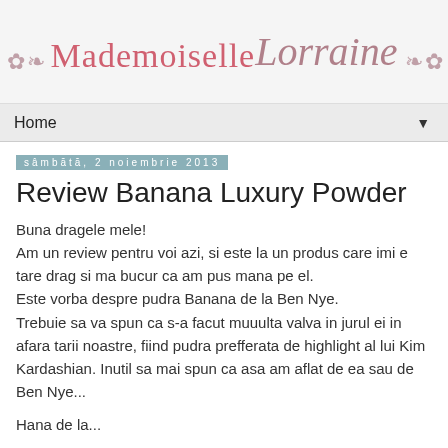Mademoiselle Lorraine
Home ▼
sâmbătă, 2 noiembrie 2013
Review Banana Luxury Powder
Buna dragele mele!
Am un review pentru voi azi, si este la un produs care imi e tare drag si ma bucur ca am pus mana pe el.
Este vorba despre pudra Banana de la Ben Nye.
Trebuie sa va spun ca s-a facut muuulta valva in jurul ei in afara tarii noastre, fiind pudra prefferata de highlight al lui Kim Kardashian. Inutil sa mai spun ca asa am aflat de ea sau de Ben Nye...
Hana de la...